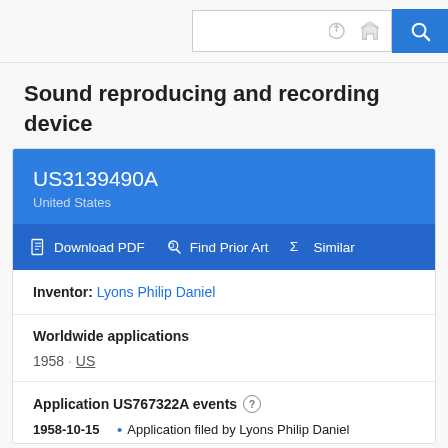Search bar with icons
Sound reproducing and recording device
US3139490A
United States
Download PDF  Find Prior Art  Similar
Inventor: Lyons Philip Daniel
Worldwide applications
1958 · US
Application US767322A events
1958-10-15 • Application filed by Lyons Philip Daniel